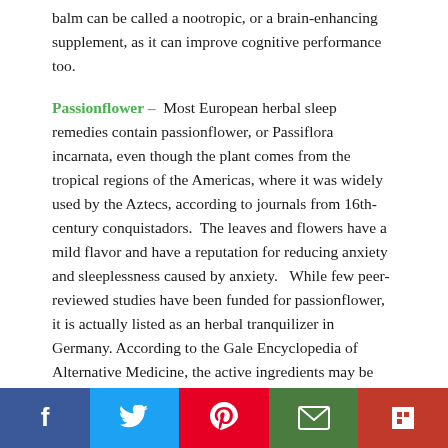balm can be called a nootropic, or a brain-enhancing supplement, as it can improve cognitive performance too.
Passionflower – Most European herbal sleep remedies contain passionflower, or Passiflora incarnata, even though the plant comes from the tropical regions of the Americas, where it was widely used by the Aztecs, according to journals from 16th-century conquistadors.  The leaves and flowers have a mild flavor and have a reputation for reducing anxiety and sleeplessness caused by anxiety.   While few peer-reviewed studies have been funded for passionflower, it is actually listed as an herbal tranquilizer in Germany. According to the Gale Encyclopedia of Alternative Medicine, the active ingredients may be harmaline and harmine, so does not
[Figure (other): Social sharing bar with Facebook, Twitter, Pinterest, Email, and Flipboard buttons]